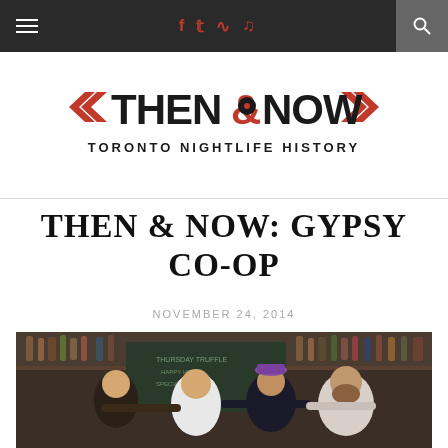Then & Now Toronto Nightlife History — navigation bar with hamburger menu, social icons (Facebook, Twitter, RSS, music note), and search
[Figure (logo): Then & Now Toronto Nightlife History logo — red double chevrons flanking bold black text THEN&NOW with a vinyl record in the ampersand, and TORONTO NIGHTLIFE HISTORY below]
THEN & NOW: GYPSY CO-OP
NOVEMBER 24, 2014
[Figure (photo): Group of four men posing and smiling inside a bar with shelves of liquor bottles in the background and a chalkboard menu visible]